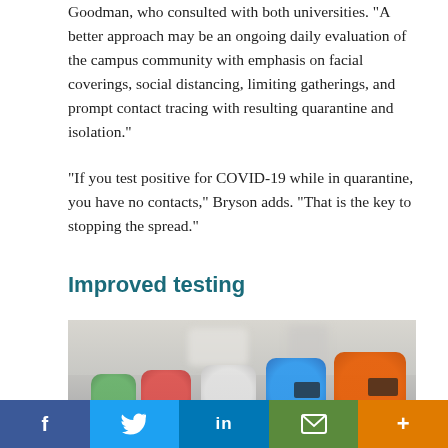Goodman, who consulted with both universities. “A better approach may be an ongoing daily evaluation of the campus community with emphasis on facial coverings, social distancing, limiting gatherings, and prompt contact tracing with resulting quarantine and isolation.”
“If you test positive for COVID-19 while in quarantine, you have no contacts,” Bryson adds. “That is the key to stopping the spread.”
Improved testing
[Figure (photo): Close-up photo of multiple colorful COVID-19 rapid test devices (orange, blue, white, red, green) arranged on a table, slightly blurred background with lab equipment]
f  🐦  in  ✉  +